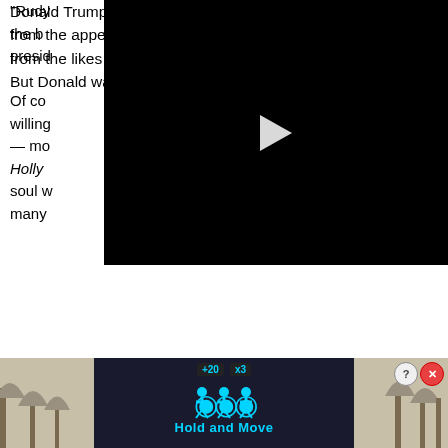“Rudy the b… presi…
[Figure (screenshot): Black video player with white play button triangle in center, partially overlapping text content on the left side]
Of co… willing… — mo… Holly… soul… many… Donald Trump was apparently rarely grateful. Upon returning from the appearances, Rudy was met with cheers and praise from the likes of Hope Hicks, David Bossie, and Stephen Miller. But Donald was not impressed.
[Figure (screenshot): Advertisement banner showing Hold and Move app/game with neon blue pedestrian icons on dark background, outdoor scene with trees in background, close and help buttons in top right corner]